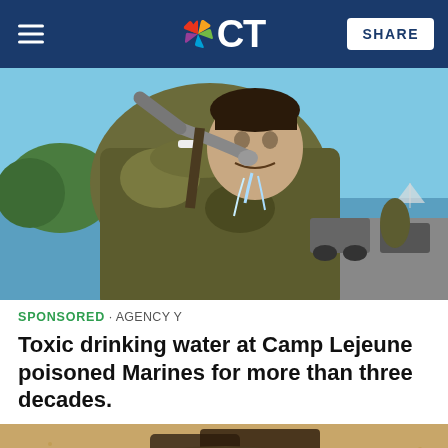NBC CT
[Figure (photo): A Marine in camouflage uniform drinking water from a hose outdoors, with military vehicles and water in the background on a sunny day.]
SPONSORED · AGENCY Y
Toxic drinking water at Camp Lejeune poisoned Marines for more than three decades.
[Figure (photo): Partial view of a second photo showing sandy ground and equipment, partially cropped at bottom of page.]